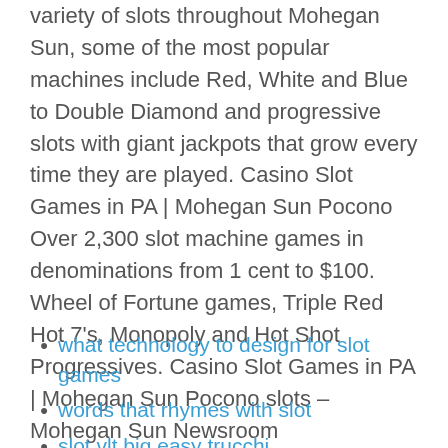variety of slots throughout Mohegan Sun, some of the most popular machines include Red, White and Blue to Double Diamond and progressive slots with giant jackpots that grow every time they are played. Casino Slot Games in PA | Mohegan Sun Pocono Over 2,300 slot machine games in denominations from 1 cent to $100. Wheel of Fortune games, Triple Red Hot 7's, Monopoly and Hot Shot Progressives. Casino Slot Games in PA | Mohegan Sun Pocono slots – Mohegan Sun Newsroom
what technology to design for slot games
words that rhymes with slot
slot vlt big easy trucchi
black cherry slot machine
geant casino annemasse 1 mai
4 pics 1 word slots loan application